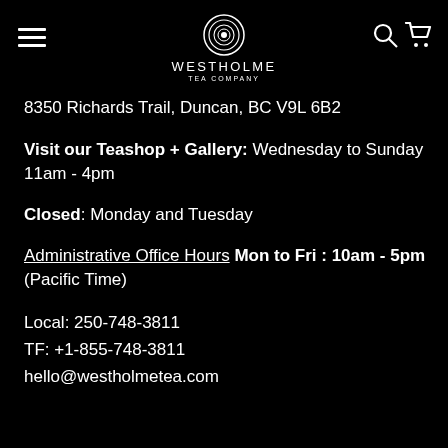[Figure (logo): Westholme Tea Company logo with concentric oval/circle icon above the text WESTHOLME TEA COMPANY]
8350 Richards Trail, Duncan, BC V9L 6B2
Visit our Teashop + Gallery: Wednesday to Sunday 11am - 4pm
Closed: Monday and Tuesday
Administrative Office Hours Mon to Fri : 10am - 5pm (Pacific Time)
Local: 250-748-3811
TF: +1-855-748-3811
hello@westholmetea.com